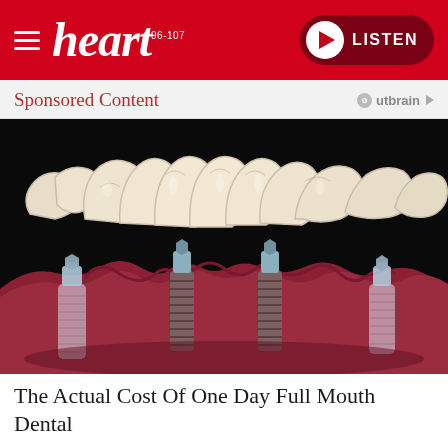heart 96-107 | LISTEN
Sponsored Content | Outbrain
[Figure (illustration): 3D medical illustration of full mouth dental implants showing four titanium implant screws placed in a jawbone/gum model with a full arch of ceramic tooth crowns floating above them, against a black background.]
The Actual Cost Of One Day Full Mouth Dental